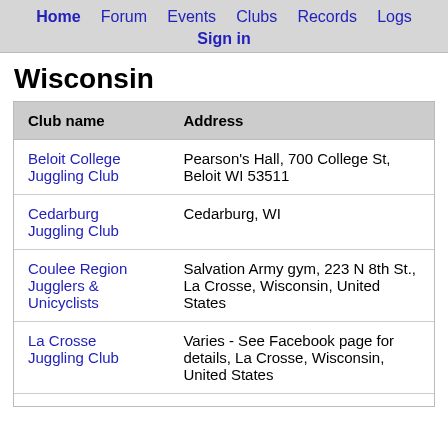Home  Forum  Events  Clubs  Records  Logs  Sign in
Wisconsin
| Club name | Address |
| --- | --- |
| Beloit College Juggling Club | Pearson's Hall, 700 College St, Beloit WI 53511 |
| Cedarburg Juggling Club | Cedarburg, WI |
| Coulee Region Jugglers & Unicyclists | Salvation Army gym, 223 N 8th St., La Crosse, Wisconsin, United States |
| La Crosse Juggling Club | Varies - See Facebook page for details, La Crosse, Wisconsin, United States |